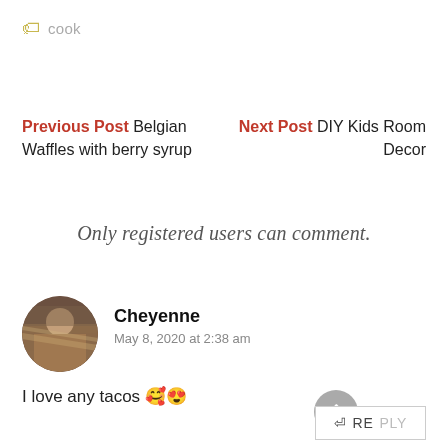cook
Previous Post Belgian Waffles with berry syrup
Next Post DIY Kids Room Decor
Only registered users can comment.
Cheyenne
May 8, 2020 at 2:38 am
I love any tacos 🥰😍